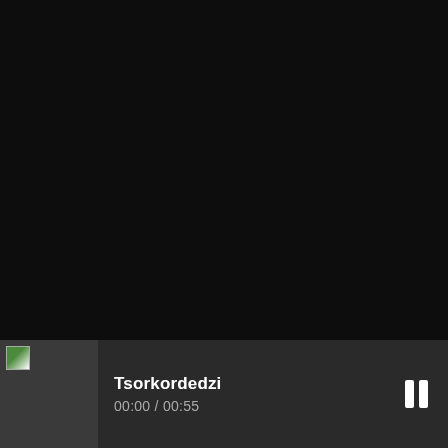[Figure (screenshot): Dark/black video player area, mostly black background]
Tsorkordedzi
00:00 / 00:55